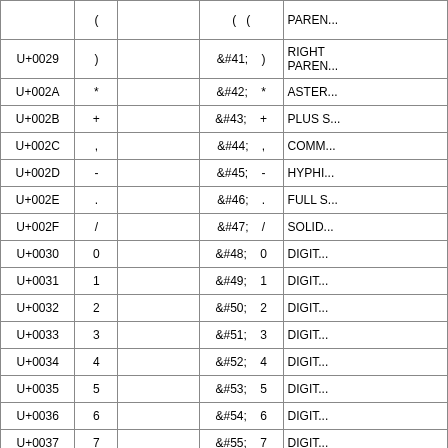| Code Point | Char | HTML Entity | Numeric Ref | Name |
| --- | --- | --- | --- | --- |
|  | ( |  | ( ( | PAREN... |
| U+0029 | ) |  | &#41;   ) | RIGHT PAREN... |
| U+002A | * |  | &#42;   * | ASTER... |
| U+002B | + |  | &#43;   + | PLUS S... |
| U+002C | , |  | &#44;   , | COMM... |
| U+002D | - |  | &#45;   - | HYPHI... |
| U+002E | . |  | &#46;   . | FULL S... |
| U+002F | / |  | &#47;   / | SOLID... |
| U+0030 | 0 |  | &#48;   0 | DIGIT... |
| U+0031 | 1 |  | &#49;   1 | DIGIT... |
| U+0032 | 2 |  | &#50;   2 | DIGIT... |
| U+0033 | 3 |  | &#51;   3 | DIGIT... |
| U+0034 | 4 |  | &#52;   4 | DIGIT... |
| U+0035 | 5 |  | &#53;   5 | DIGIT... |
| U+0036 | 6 |  | &#54;   6 | DIGIT... |
| U+0037 | 7 |  | &#55;   7 | DIGIT... |
| U+0038 | 8 |  | &#56;   8 | DIGIT... |
| U+0039 | 9 |  | &#57;   9 | DIGIT... |
| U+003A | : |  | &#58;   : | COLON... |
| U+003B | ; |  | &#59;   ; | SEMIC... |
| U+003C | < | &lt;   < | &#60;   < | LESS-T... |